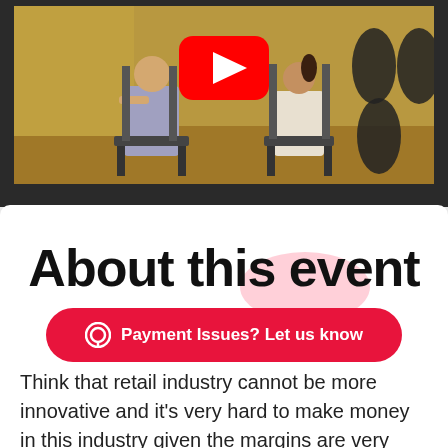[Figure (screenshot): YouTube video thumbnail showing two people seated in chairs in a room with acoustic panels, with a YouTube play button overlay centered on the image. The background is dark/charcoal with the video inset.]
About this event
Payment Issues? Let us know
Think that retail industry cannot be more innovative and it's very hard to make money in this industry given the margins are very low? Think again! There are 2 entrepreneurs who changed the business